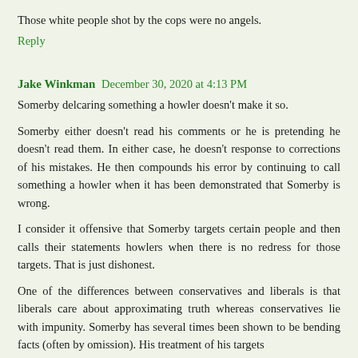Those white people shot by the cops were no angels.
Reply
Jake Winkman  December 30, 2020 at 4:13 PM
Somerby delcaring something a howler doesn't make it so.
Somerby either doesn't read his comments or he is pretending he doesn't read them. In either case, he doesn't response to corrections of his mistakes. He then compounds his error by continuing to call something a howler when it has been demonstrated that Somerby is wrong.
I consider it offensive that Somerby targets certain people and then calls their statements howlers when there is no redress for those targets. That is just dishonest.
One of the differences between conservatives and liberals is that liberals care about approximating truth whereas conservatives lie with impunity. Somerby has several times been shown to be bending facts (often by omission). His treatment of his targets